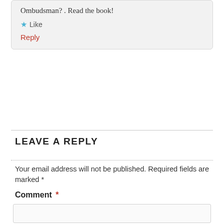Ombudsman? . Read the book!
★ Like
Reply
LEAVE A REPLY
Your email address will not be published. Required fields are marked *
Comment *